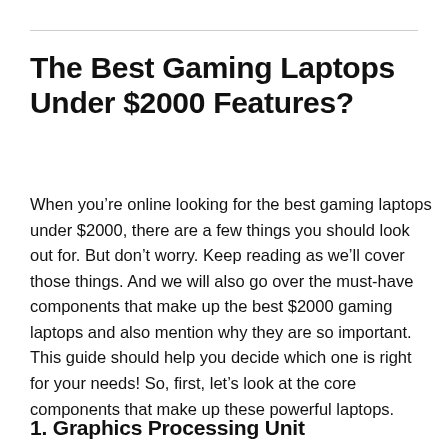The Best Gaming Laptops Under $2000 Features?
When you’re online looking for the best gaming laptops under $2000, there are a few things you should look out for. But don’t worry. Keep reading as we’ll cover those things. And we will also go over the must-have components that make up the best $2000 gaming laptops and also mention why they are so important. This guide should help you decide which one is right for your needs! So, first, let’s look at the core components that make up these powerful laptops.
1. Graphics Processing Unit